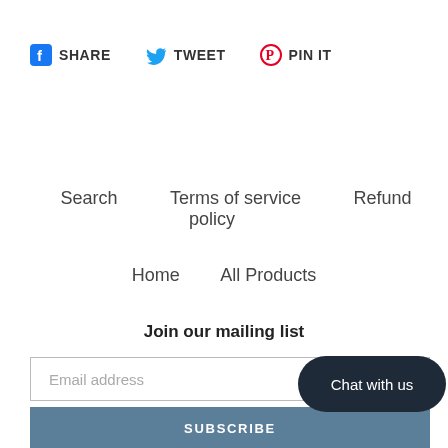SHARE   TWEET   PIN IT
Search   Terms of service   Refund policy
Home   All Products
Join our mailing list
Email address
SUBSCRIBE
Chat with us